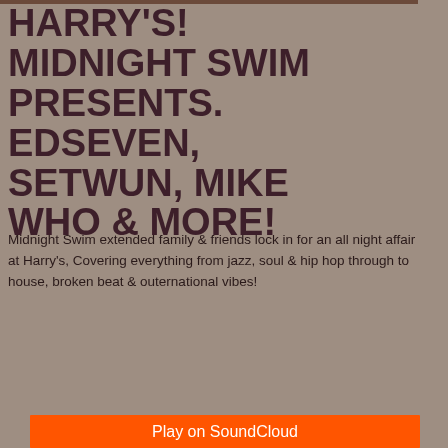HARRY'S! MIDNIGHT SWIM PRESENTS. EDSEVEN, SETWUN, MIKE WHO & MORE!
Midnight Swim extended family & friends lock in for an all night affair at Harry's, Covering everything from jazz, soul & hip hop through to house, broken beat & outernational vibes!
[Figure (screenshot): Embedded SoundCloud player widget showing an error state: 'Oops, we couldn't find that track.' with SoundCloud logo and a 'Play on SoundCloud' orange button]